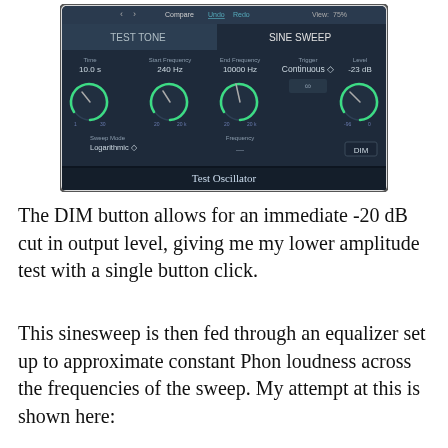[Figure (screenshot): Screenshot of a Test Oscillator plugin UI showing TEST TONE and SINE SWEEP tabs. Controls include Time (10.0 s), Start Frequency (240 Hz), End Frequency (10000 Hz), Trigger (Continuous), Level (-23 dB), Sweep Mode (Logarithmic), Frequency knobs, and a DIM button. Green arc knobs on dark navy background.]
Test Oscillator
The DIM button allows for an immediate -20 dB cut in output level, giving me my lower amplitude test with a single button click.
This sinesweep is then fed through an equalizer set up to approximate constant Phon loudness across the frequencies of the sweep. My attempt at this is shown here: